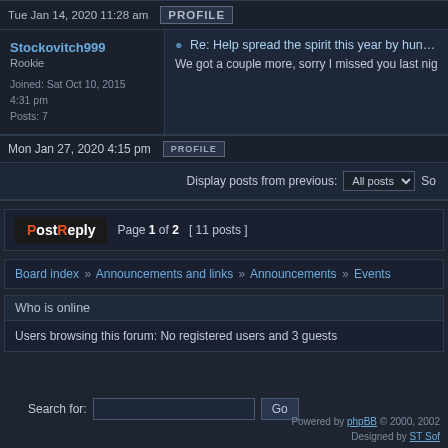Tue Jan 14, 2020 11:28 am  PROFILE
Stockovitch999
Rookie
Joined: Sat Oct 10, 2015 4:31 pm
Posts: 7
Re: Help spread the spirit this year by hunting Spirit
We got a couple more, sorry I missed you last night, I've
Mon Jan 27, 2020 4:15 pm  PROFILE
Display posts from previous: All posts  So
Post Reply  Page 1 of 2  [ 11 posts ]
Board index » Announcements and links » Announcements » Events
Who is online
Users browsing this forum: No registered users and 3 guests
Search for:
Powered by phpBB © 2000, 2002
Designed by ST Sof